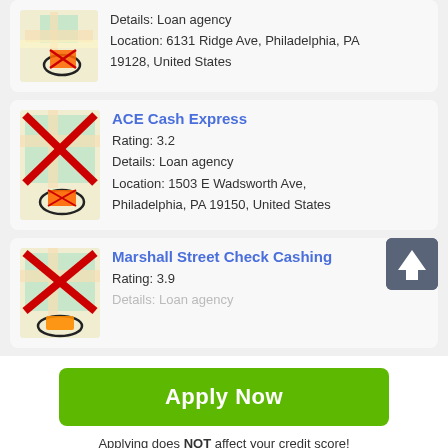[Figure (screenshot): Partial card showing map icon with Details: Loan agency and Location: 6131 Ridge Ave, Philadelphia, PA 19128, United States]
Details: Loan agency
Location: 6131 Ridge Ave, Philadelphia, PA 19128, United States
[Figure (screenshot): ACE Cash Express listing card with crossed-out map icon]
ACE Cash Express
Rating: 3.2
Details: Loan agency
Location: 1503 E Wadsworth Ave, Philadelphia, PA 19150, United States
[Figure (screenshot): Marshall Street Check Cashing listing card with crossed-out map icon and up-arrow button]
Marshall Street Check Cashing
Rating: 3.9
Details: Loan agency
Apply Now
Applying does NOT affect your credit score!
No credit check to apply.